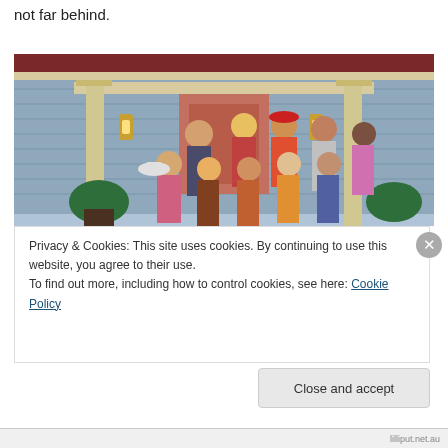not far behind.
[Figure (photo): Group photo of approximately 14 people posing on the porch of a house with blue siding, red roof, and gold columns. Some people wear casual clothes including a red cap and orange shirt. Decorative lanterns and plants visible.]
Privacy & Cookies: This site uses cookies. By continuing to use this website, you agree to their use.
To find out more, including how to control cookies, see here: Cookie Policy
Close and accept
lilliput.net.au